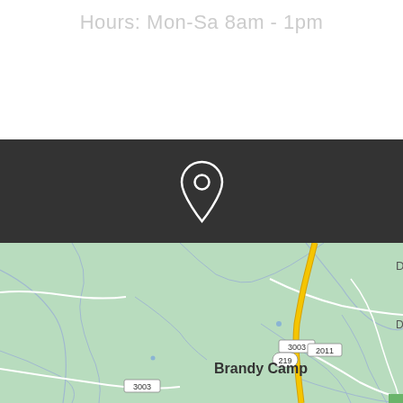Hours: Mon-Sa 8am - 1pm
[Figure (other): Location pin icon (map marker) in white outline on dark background]
[Figure (map): Google Maps screenshot showing the area around Brandy Camp, Pennsylvania. Shows route 219, route 3003, route 2011, and the town label Brandy Camp. A yellow road runs vertically through the center of the map on a light green terrain background with blue creek lines.]